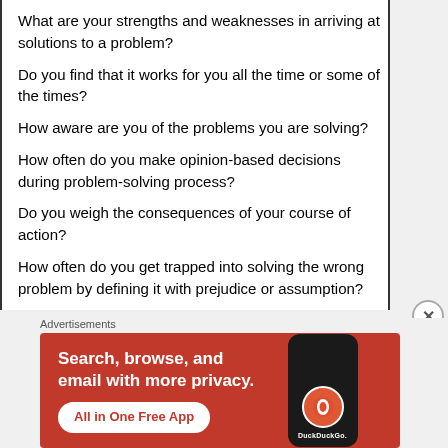What are your strengths and weaknesses in arriving at solutions to a problem?
Do you find that it works for you all the time or some of the times?
How aware are you of the problems you are solving?
How often do you make opinion-based decisions during problem-solving process?
Do you weigh the consequences of your course of action?
How often do you get trapped into solving the wrong problem by defining it with prejudice or assumption?
[Figure (other): DuckDuckGo advertisement banner with orange background showing 'Search, browse, and email with more privacy. All in One Free App' with a phone displaying the DuckDuckGo logo]